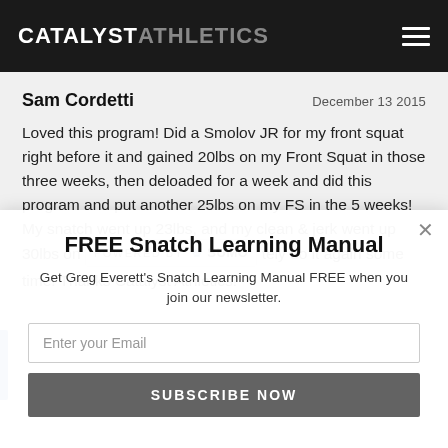CATALYST ATHLETICS
Sam Cordetti    December 13 2015
Loved this program! Did a Smolov JR for my front squat right before it and gained 20lbs on my Front Squat in those three weeks, then deloaded for a week and did this program and put another 25lbs on my FS in the 5 weeks! My snatch went up 23lbs, and my clean & jerk went up 30lbs on [POWERED BY SUMO] tely do it again some time! Thanks Catalyst Athletics!
FREE Snatch Learning Manual
Get Greg Everett's Snatch Learning Manual FREE when you join our newsletter.
Enter your Email
SUBSCRIBE NOW